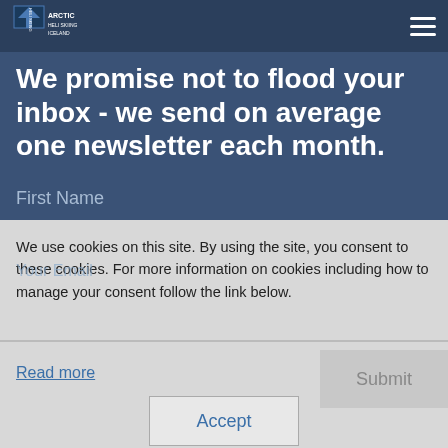Arctic Heli Skiing Iceland
We promise not to flood your inbox - we send on average one newsletter each month.
First Name
We use cookies on this site. By using the site, you consent to these cookies. For more information on cookies including how to manage your consent follow the link below.
Your Email
Read more
Submit
Accept